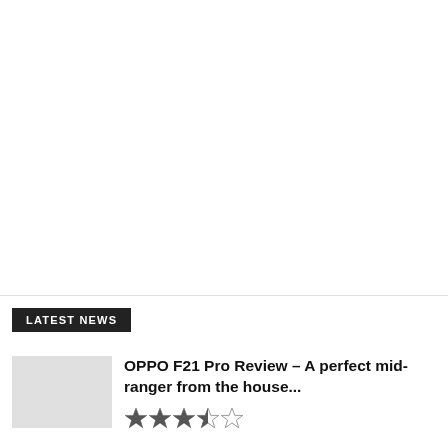LATEST NEWS
OPPO F21 Pro Review – A perfect mid-ranger from the house...
[Figure (other): Star rating: 3.5 out of 5 stars]